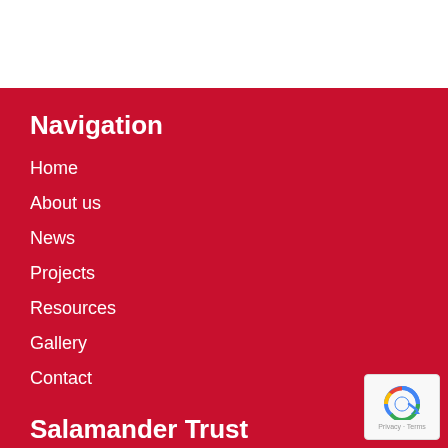Navigation
Home
About us
News
Projects
Resources
Gallery
Contact
Salamander Trust
Salamander Trust c/o STOPAIDS, Mainyard Studios,